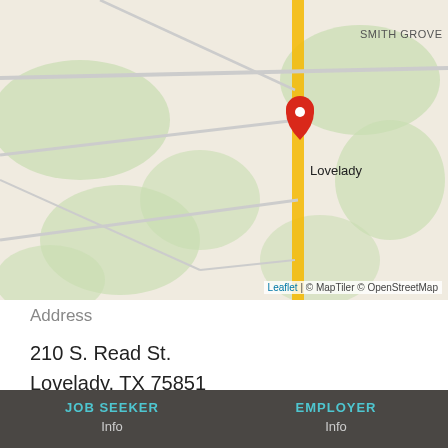[Figure (map): Map showing Lovelady, TX with a red location pin marker. Roads and green areas visible. 'SMITH GROVE' label in upper right. Attribution: Leaflet | © MapTiler © OpenStreetMap]
Address
210 S. Read St.
Lovelady, TX 75851
JOB SEEKER  Info  |  EMPLOYER  Info